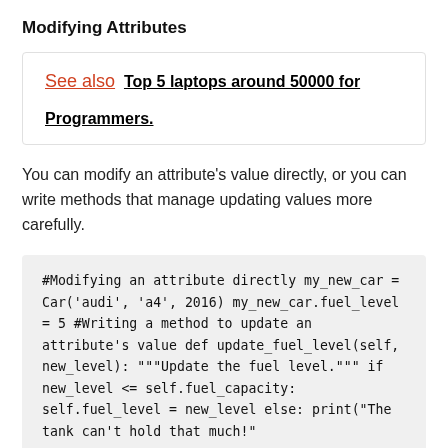Modifying Attributes
See also  Top 5 laptops around 50000 for Programmers.
You can modify an attribute's value directly, or you can write methods that manage updating values more carefully.
#Modifying an attribute directly
my_new_car = Car('audi', 'a4', 2016)
my_new_car.fuel_level = 5

#Writing a method to update an attribute's value
def update_fuel_level(self, new_level):
    """Update the fuel level."""
    if new_level <= self.fuel_capacity:
        self.fuel_level = new_level
    else:
        print("The tank can't hold that much!")